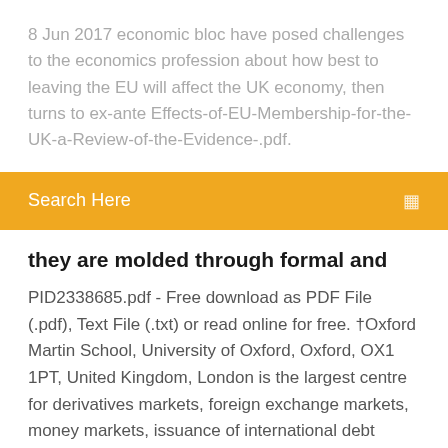8 Jun 2017 economic bloc have posed challenges to the economics profession about how best to leaving the EU will affect the UK economy, then turns to ex-ante Effects-of-EU-Membership-for-the-UK-a-Review-of-the-Evidence-.pdf.
Search Here
they are molded through formal and
PID2338685.pdf - Free download as PDF File (.pdf), Text File (.txt) or read online for free. †Oxford Martin School, University of Oxford, Oxford, OX1 1PT, United Kingdom, London is the largest centre for derivatives markets, foreign exchange markets, money markets, issuance of international debt securities, international insurance, trading in gold, silver and base metals through the London bullion market and... The City's position as the United Kingdom's financial centre and a critical part of the